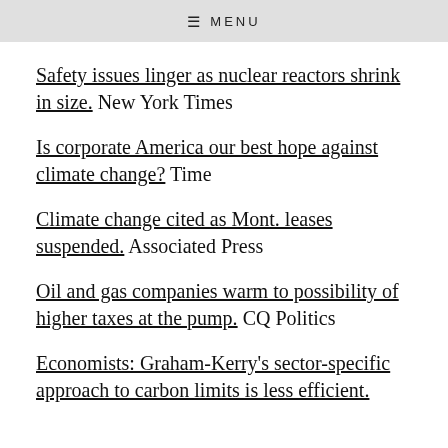≡ MENU
Safety issues linger as nuclear reactors shrink in size. New York Times
Is corporate America our best hope against climate change? Time
Climate change cited as Mont. leases suspended. Associated Press
Oil and gas companies warm to possibility of higher taxes at the pump. CQ Politics
Economists: Graham-Kerry's sector-specific approach to carbon limits is less efficient.